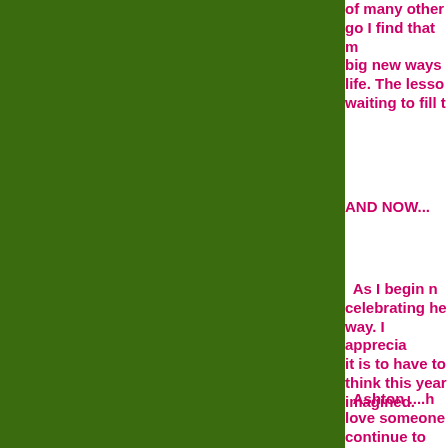[Figure (other): Large dark green rectangular panel occupying the left roughly three-quarters of the page.]
of many other go I find that m big new ways life. The lesso waiting to fill t
AND NOW...
As I begin n celebrating he way. I apprecia it is to have to think this year imagined.
Ashton ....h love someone continue to do during the har